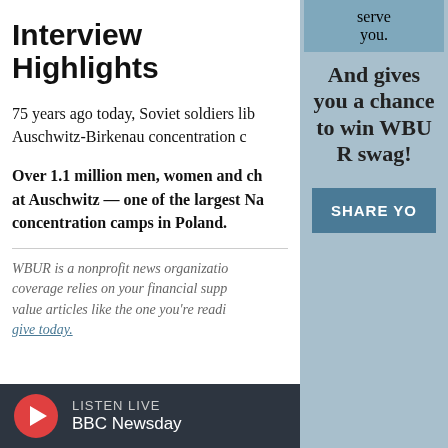Interview Highlights
75 years ago today, Soviet soldiers liberated the Auschwitz-Birkenau concentration camp.
Over 1.1 million men, women and children were killed at Auschwitz — one of the largest Nazi concentration camps in Poland.
WBUR is a nonprofit news organization. Our coverage relies on your financial support. If you value articles like the one you're reading, please give today.
LISTEN LIVE  BBC Newsday